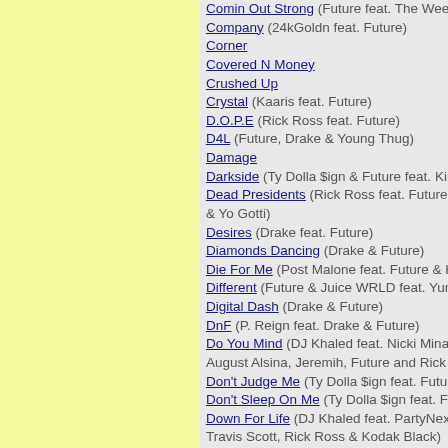Comin Out Strong (Future feat. The Weeknd)
Company (24kGoldn feat. Future)
Corner
Covered N Money
Crushed Up
Crystal (Kaaris feat. Future)
D.O.P.E (Rick Ross feat. Future)
D4L (Future, Drake & Young Thug)
Damage
Darkside (Ty Dolla $ign & Future feat. Kiiara)
Dead Presidents (Rick Ross feat. Future, Young J & Yo Gotti)
Desires (Drake feat. Future)
Diamonds Dancing (Drake & Future)
Die For Me (Post Malone feat. Future & Halsey)
Different (Future & Juice WRLD feat. Yung Bans)
Digital Dash (Drake & Future)
DnF (P. Reign feat. Drake & Future)
Do You Mind (DJ Khaled feat. Nicki Minaj, Chris B August Alsina, Jeremih, Future and Rick Ross)
Don't Judge Me (Ty Dolla $ign feat. Future & Swa
Don't Sleep On Me (Ty Dolla $ign feat. Future & 2
Down For Life (DJ Khaled feat. PartyNextDoor, Fu Travis Scott, Rick Ross & Kodak Black)
Draco
Drankin N Smokin (Future & Lil Uzi Vert)
Drip On Me (Future & Young Thug)
East Atlanta Love Letter (6lack feat. Future)
Easter Pink
End Game (Taylor Swift feat. Ed Sheeran & Futur
Everyday (Ariana Grande feat. Future)
Extra Luv (Future feat. YG)
F&N
F*ck Up Some Commas
F*ck Up The Club (DJ Khaled feat. Future, Rick R YG and Yo Gotti)
Faceshot
Faded Love (Tinashe feat. Future)